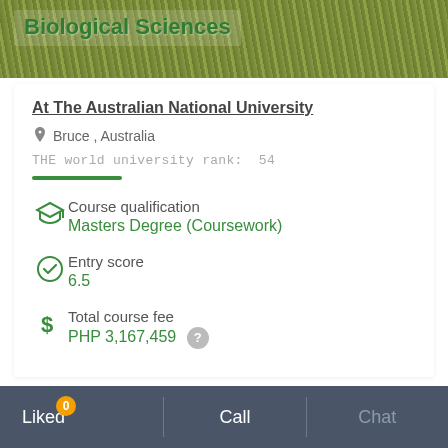[Figure (photo): Green grass background image with 'Biological Sciences' title overlay in bold green text on semi-transparent background]
Biological Sciences
At The Australian National University
Bruce , Australia
THE world university rank:  54
Course qualification
Masters Degree (Coursework)
Entry score
6.5
Total course fee
PHP 3,167,459
Liked  0    Call    Chat